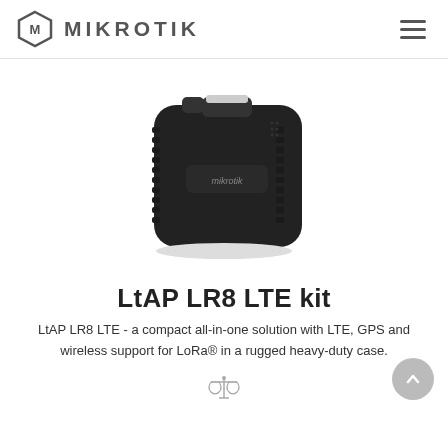MikroTik
[Figure (photo): MikroTik LtAP LR8 LTE kit device — a compact black ruggedized box with ribbed casing and rounded corners, viewed from a slight angle. The device has the MikroTik logo on the front and a small USB/SIM slot visible at the top.]
LtAP LR8 LTE kit
LtAP LR8 LTE - a compact all-in-one solution with LTE, GPS and wireless support for LoRa® in a rugged heavy-duty case.